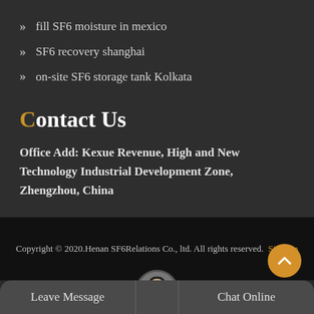fill SF6 moisture in mexico
SF6 recovery shanghai
on-site SF6 storage tank Kolkata
Contact Us
Office Add: Kexue Revenue, High and New Technology Industrial Development Zone, Zhengzhou, China
Copyright © 2020.Henan SF6Relations Co., ltd. All rights reserved. Sitemap
Leave Message
Chat Online